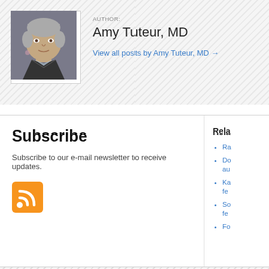AUTHOR:
Amy Tuteur, MD
View all posts by Amy Tuteur, MD →
[Figure (photo): Headshot photo of Amy Tuteur, MD — a woman with short grey hair wearing a dark jacket]
Subscribe
Subscribe to our e-mail newsletter to receive updates.
[Figure (illustration): RSS feed orange icon]
Rela
Ra
Do au
Ka fe
So fe
Fo